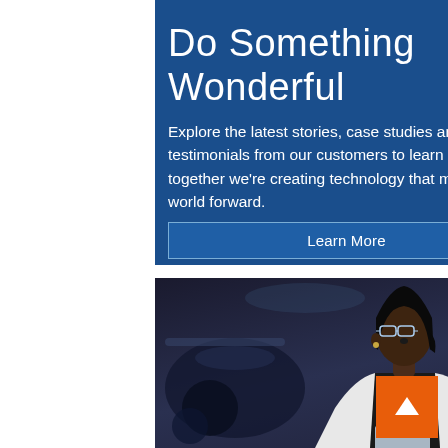Do Something Wonderful
Explore the latest stories, case studies and testimonials from our customers to learn how together we're creating technology that moves the world forward.
Learn More
[Figure (photo): A Black woman scientist wearing safety glasses and a white lab coat, writing on a glass board with a blue marker in a laboratory setting. Another person is visible in the background.]
[Figure (other): Orange back-to-top arrow button in the lower right corner]